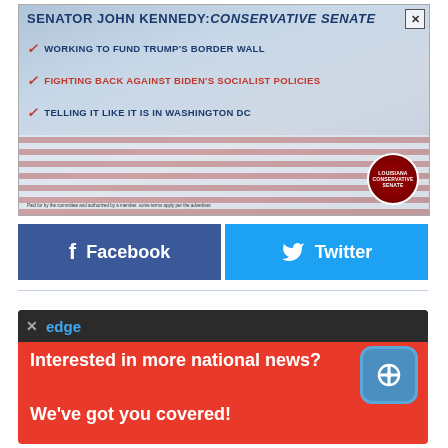[Figure (infographic): Senator John Kennedy: Conservative Senate political ad banner. Shows checkmarks for: WORKING TO FUND TRUMP'S BORDER WALL, FIGHTING BACK AGAINST BIDEN'S SOCIALIST POLICIES, TELLING IT LIKE IT IS IN WASHINGTON DC. Red white and blue flag background with Louisiana Conservative seal.]
[Figure (infographic): Two social sharing buttons side by side: Facebook (dark blue) and Twitter (light blue), with icons and bold white text labels.]
[Figure (infographic): Edge browser notification ad with dark top bar showing X close button and 'edge' logo. Red background with white bold text: 'Interested in more national news? We've got you covered!' and a blue app icon.]